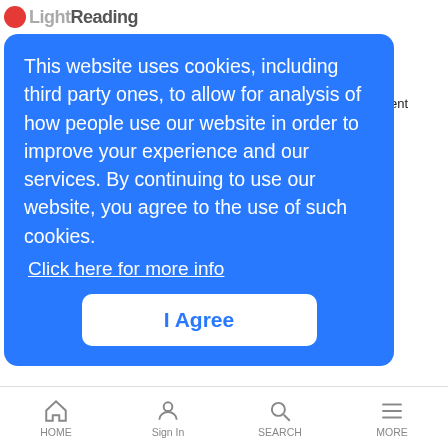Light Reading
oment
ink,
n
This website uses cookies, including third party ones, to allow for analysis of how people use our website in order to improve your experience and our services. By continuing to use our website, you agree to the use of such cookies.
Click here for more info
I Agree
hrough
time it
Level 3
customer expectations necessitates its biggest transformation yet.
Intel GM: 5G Opens Up New Era for Women
News Analysis | 5/16/2017
By blending IT and telco and tying in new industries, 5G will have more women and opportunities for women than telco ever did, Intelia Caroline
HOME  Sign In  SEARCH  MORE